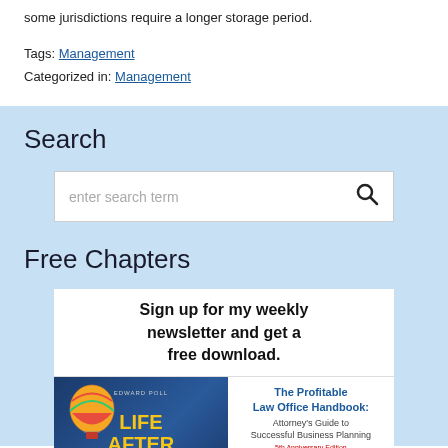some jurisdictions require a longer storage period.
Tags: Management
Categorized in: Management
Search
[Figure (screenshot): Search input box with placeholder text 'enter search term' and a magnifying glass icon]
Free Chapters
[Figure (illustration): Book promotion showing two books: 'Life After Law' with hot air balloon on dark blue background, and 'The Profitable Law Office Handbook: Attorney's Guide to Successful Business Planning' on white background, with header text 'Sign up for my weekly newsletter and get a free download.']